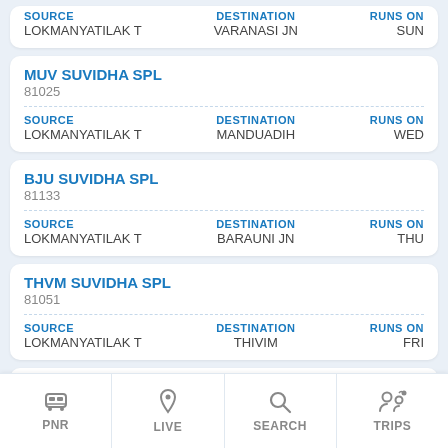| SOURCE | DESTINATION | RUNS ON |
| --- | --- | --- |
| LOKMANYATILAK T | VARANASI JN | SUN |
MUV SUVIDHA SPL
81025
| SOURCE | DESTINATION | RUNS ON |
| --- | --- | --- |
| LOKMANYATILAK T | MANDUADIH | WED |
BJU SUVIDHA SPL
81133
| SOURCE | DESTINATION | RUNS ON |
| --- | --- | --- |
| LOKMANYATILAK T | BARAUNI JN | THU |
THVM SUVIDHA SPL
81051
| SOURCE | DESTINATION | RUNS ON |
| --- | --- | --- |
| LOKMANYATILAK T | THIVIM | FRI |
LTT SUVIDHA SPL
81043
PNR   LIVE   SEARCH   TRIPS